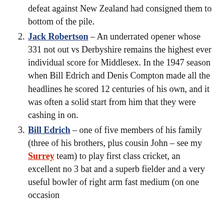defeat against New Zealand had consigned them to bottom of the pile.
Jack Robertson – An underrated opener whose 331 not out vs Derbyshire remains the highest ever individual score for Middlesex. In the 1947 season when Bill Edrich and Denis Compton made all the headlines he scored 12 centuries of his own, and it was often a solid start from him that they were cashing in on.
Bill Edrich – one of five members of his family (three of his brothers, plus cousin John – see my Surrey team) to play first class cricket, an excellent no 3 bat and a superb fielder and a very useful bowler of right arm fast medium (on one occasion